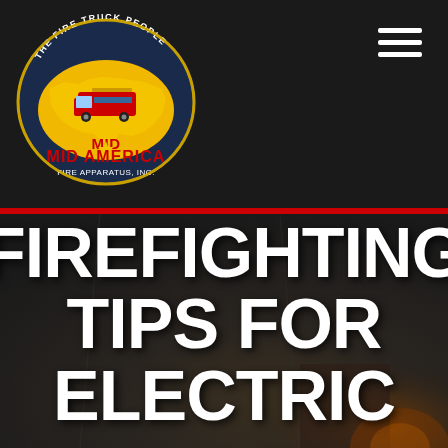[Figure (logo): Jon's Mid America Fire Apparatus, Inc. logo — circular badge with 'THE FIRE TRUCK PEOPLE' text, US map shape in yellow with a red fire truck, red text 'MID AMERICA', yellow star, text 'FIRE APPARATUS, INC.' on dark background]
[Figure (infographic): Hamburger menu icon (three horizontal white lines) in top right corner of dark header]
FIREFIGHTING TIPS FOR ELECTRIC